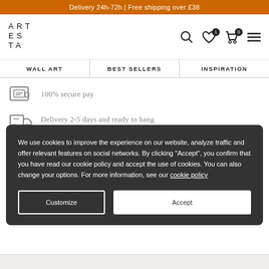Delivery 24h-72h | Free shipping over £38
[Figure (logo): ARTESTA logo in stacked letter format]
WALL ART | BEST SELLERS | INSPIRATION
100% secure pay
Delivery 2-5 days and ready to hang
Restistant methacrylate and frame
We use cookies to improve the experience on our website, analyze traffic and offer relevant features on social networks. By clicking "Accept", you confirm that you have read our cookie policy and accept the use of cookies. You can also change your options. For more information, see our cookie policy